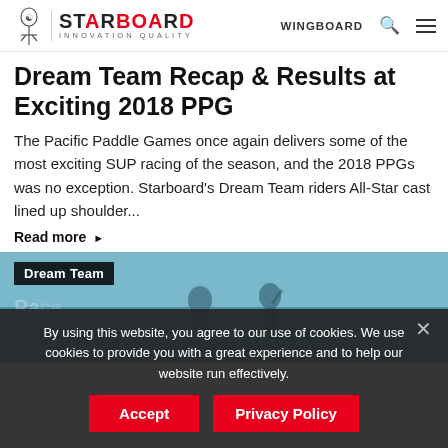Starboard INNOVATION QUALITY | WINGBOARD
Dream Team Recap & Results at Exciting 2018 PPG
The Pacific Paddle Games once again delivers some of the most exciting SUP racing of the season, and the 2018 PPGs was no exception. Starboard's Dream Team riders All-Star cast lined up shoulder...
Read more ▶
[Figure (photo): Photo of paddlers on water with Dream Team label overlay and partially visible race label text]
By using this website, you agree to our use of cookies. We use cookies to provide you with a great experience and to help our website run effectively.